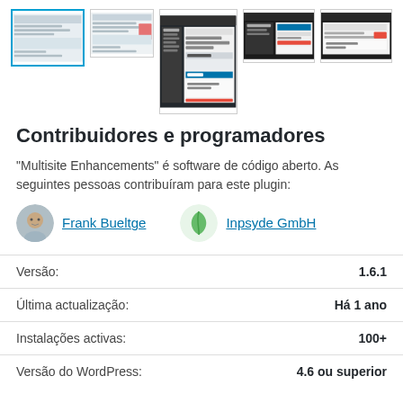[Figure (screenshot): Row of 5 screenshot thumbnails of a WordPress plugin admin interface]
Contribuidores e programadores
“Multisite Enhancements” é software de código aberto. As seguintes pessoas contribuíram para este plugin:
Frank Bueltge  Inpsyde GmbH
| Versão: | 1.6.1 |
| Última actualização: | Há 1 ano |
| Instalações activas: | 100+ |
| Versão do WordPress: | 4.6 ou superior |